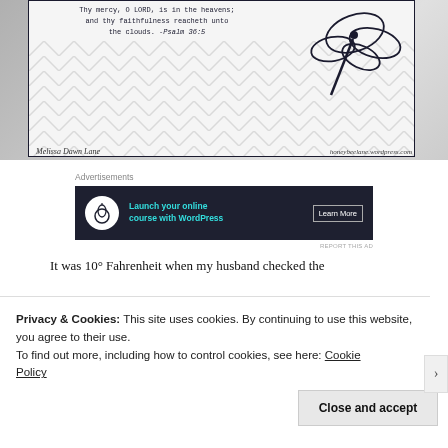[Figure (photo): A handmade greeting card with a dragonfly illustration and a Bible verse: 'Thy mercy, O LORD, is in the heavens; and thy faithfulness reacheth unto the clouds. -Psalm 36:5', on a chevron-patterned background. Signed 'Melissa Dawn Lane' and 'honeybeelane.wordpress.com'.]
Advertisements
[Figure (other): Advertisement banner: 'Launch your online course with WordPress' with a Learn More button, dark background.]
REPORT THIS AD
It was 10° Fahrenheit when my husband checked the
Privacy & Cookies: This site uses cookies. By continuing to use this website, you agree to their use.
To find out more, including how to control cookies, see here: Cookie Policy
Close and accept